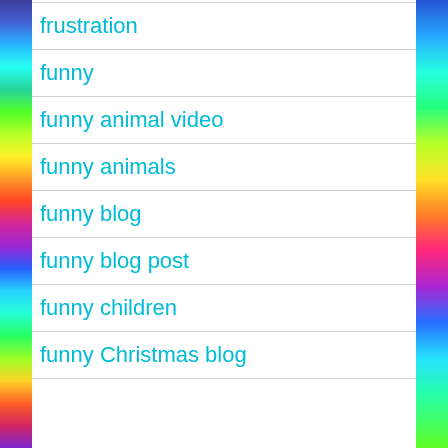frustration
funny
funny animal video
funny animals
funny blog
funny blog post
funny children
funny Christmas blog